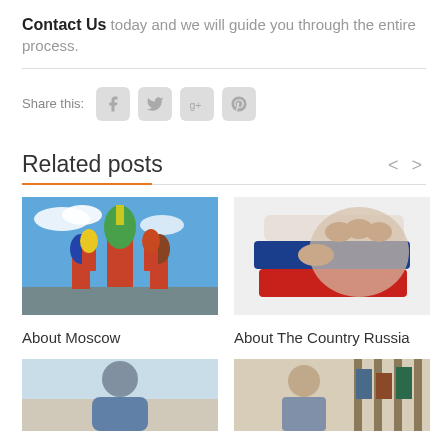Contact Us today and we will guide you through the entire process.
Share this:
Related posts
[Figure (photo): Saint Basil's Cathedral in Moscow against a blue sky]
About Moscow
[Figure (photo): A fist painted with the Russian flag colors (white, blue, red)]
About The Country Russia
[Figure (photo): Person in denim jacket outdoors]
[Figure (photo): Young man in library reading]